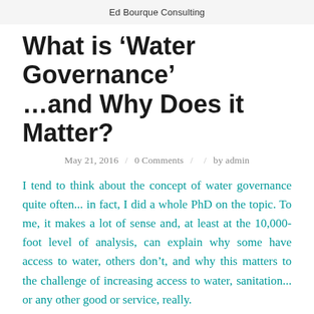Ed Bourque Consulting
What is ‘Water Governance’ …and Why Does it Matter?
May 21, 2016 / 0 Comments / / by admin
I tend to think about the concept of water governance quite often... in fact, I did a whole PhD on the topic. To me, it makes a lot of sense and, at least at the 10,000-foot level of analysis, can explain why some have access to water, others don't, and why this matters to the challenge of increasing access to water, sanitation... or any other good or service, really.
In general, I like to think of water governance as being the political and institutional framework that